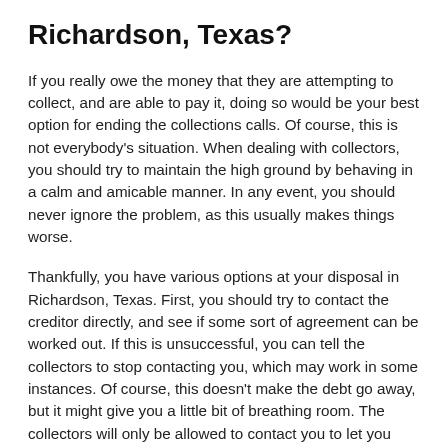Richardson, Texas?
If you really owe the money that they are attempting to collect, and are able to pay it, doing so would be your best option for ending the collections calls. Of course, this is not everybody's situation. When dealing with collectors, you should try to maintain the high ground by behaving in a calm and amicable manner. In any event, you should never ignore the problem, as this usually makes things worse.
Thankfully, you have various options at your disposal in Richardson, Texas. First, you should try to contact the creditor directly, and see if some sort of agreement can be worked out. If this is unsuccessful, you can tell the collectors to stop contacting you, which may work in some instances. Of course, this doesn't make the debt go away, but it might give you a little bit of breathing room. The collectors will only be allowed to contact you to let you know that they are suing you for the money owed, or that they have stopped trying to collect the debt.